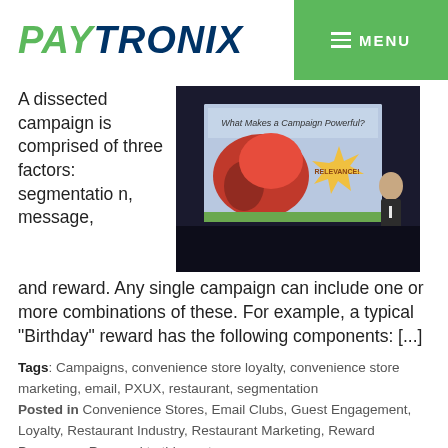PAYTRONIX | MENU
A dissected campaign is comprised of three factors: segmentation, message, and reward. Any single campaign can include one or more combinations of these. For example, a typical “Birthday” reward has the following components: [...]
[Figure (photo): Conference room scene showing a presenter beside a projection screen displaying 'What Makes a Campaign Powerful?' with a starburst graphic labelled 'RELEVANCE!']
Tags: Campaigns, convenience store loyalty, convenience store marketing, email, PXUX, restaurant, segmentation
Posted in Convenience Stores, Email Clubs, Guest Engagement, Loyalty, Restaurant Industry, Restaurant Marketing, Reward Programs • Respond to this post »